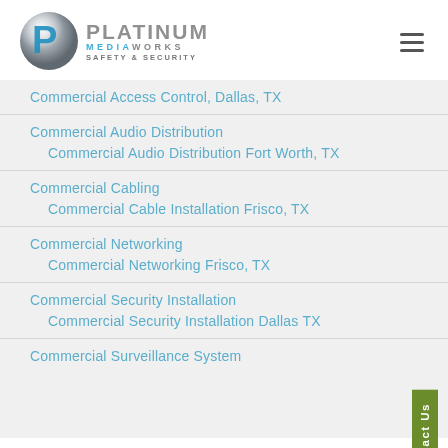[Figure (logo): Platinum Mediaworks Safety & Security logo with grey sphere/P icon]
Commercial Access Control, Dallas, TX
Commercial Audio Distribution
Commercial Audio Distribution Fort Worth, TX
Commercial Cabling
Commercial Cable Installation Frisco, TX
Commercial Networking
Commercial Networking Frisco, TX
Commercial Security Installation
Commercial Security Installation Dallas TX
Commercial Surveillance System